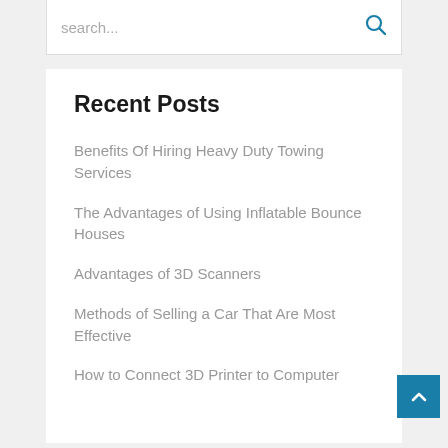Recent Posts
Benefits Of Hiring Heavy Duty Towing Services
The Advantages of Using Inflatable Bounce Houses
Advantages of 3D Scanners
Methods of Selling a Car That Are Most Effective
How to Connect 3D Printer to Computer